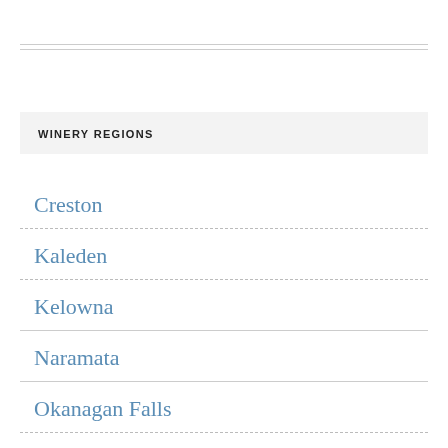WINERY REGIONS
Creston
Kaleden
Kelowna
Naramata
Okanagan Falls
Okanagan North